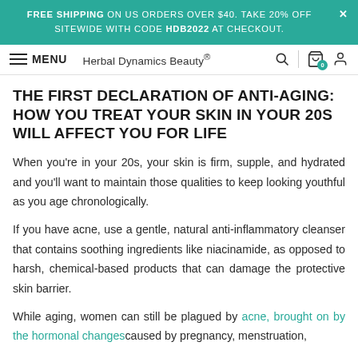FREE SHIPPING ON US ORDERS OVER $40. TAKE 20% OFF SITEWIDE WITH CODE HDB2022 AT CHECKOUT.
MENU | Herbal Dynamics Beauty®
THE FIRST DECLARATION OF ANTI-AGING: HOW YOU TREAT YOUR SKIN IN YOUR 20S WILL AFFECT YOU FOR LIFE
When you're in your 20s, your skin is firm, supple, and hydrated and you'll want to maintain those qualities to keep looking youthful as you age chronologically.
If you have acne, use a gentle, natural anti-inflammatory cleanser that contains soothing ingredients like niacinamide, as opposed to harsh, chemical-based products that can damage the protective skin barrier.
While aging, women can still be plagued by acne, brought on by the hormonal changescaused by pregnancy, menstruation,